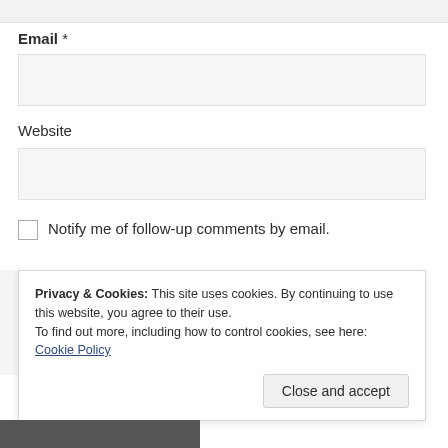Email *
[Figure (screenshot): Empty text input field for Email]
Website
[Figure (screenshot): Empty text input field for Website]
Notify me of follow-up comments by email.
Privacy & Cookies: This site uses cookies. By continuing to use this website, you agree to their use.
To find out more, including how to control cookies, see here:
Cookie Policy